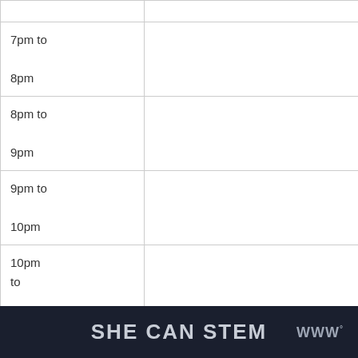| 7pm to 8pm |  |
| 8pm to 9pm |  |
| 9pm to 10pm |  |
| 10pm to 11pm |  |
| 11pm to 12am |  |
SHE CAN STEM